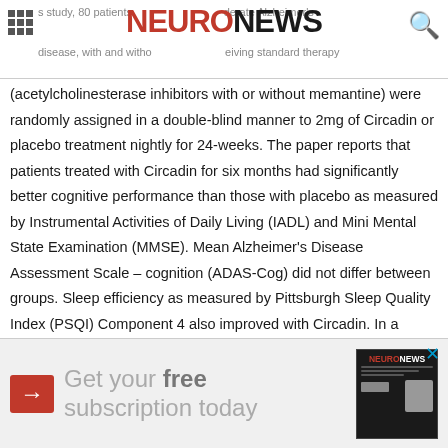NEURONEWS — s study, 80 patients with moderate Alzheimer's disease, with and without receiving standard therapy
(acetylcholinesterase inhibitors with or without memantine) were randomly assigned in a double-blind manner to 2mg of Circadin or placebo treatment nightly for 24-weeks. The paper reports that patients treated with Circadin for six months had significantly better cognitive performance than those with placebo as measured by Instrumental Activities of Daily Living (IADL) and Mini Mental State Examination (MMSE). Mean Alzheimer's Disease Assessment Scale – cognition (ADAS-Cog) did not differ between groups. Sleep efficiency as measured by Pittsburgh Sleep Quality Index (PSQI) Component 4 also improved with Circadin. In a subgroup of patients suffering from comorbid insomnia, Circadin treatment resulted in significant and clinically meaningful effects vs. placebo in mean IADL (p=0.032), MMSE (+1.5 vs. -3 points, p=0.0177) sleep efficiency (p=0.04), and median ADAS-Cog values (-3.5 vs. +3 points, p=0.045). The treatment was well tolerate
[Figure (infographic): Advertisement banner: Get your free subscription today, with NeuroNews magazine image]